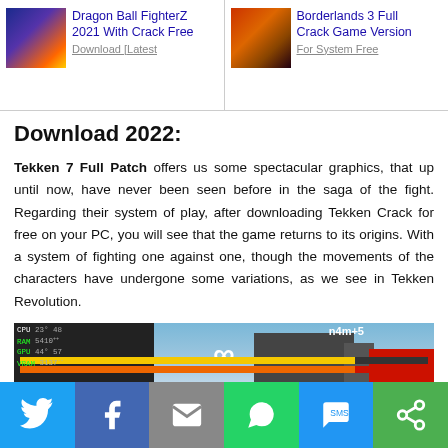Dragon Ball FighterZ 2021 With Crack Free Download [Latest | Borderlands 3 Full Crack Game Version For System Free
Download 2022:
Tekken 7 Full Patch offers us some spectacular graphics, that up until now, have never been seen before in the saga of the fight. Regarding their system of play, after downloading Tekken Crack for free on your PC, you will see that the game returns to its origins. With a system of fighting one against one, though the movements of the characters have undergone some variations, as we see in Tekken Revolution.
[Figure (screenshot): In-game screenshot of Tekken 7 showing HUD with CPU/RAM/GPU/VRAM stats overlay, health bars, infinity symbol, and sky background with red corner element]
Social share bar: Twitter, Facebook, Email, WhatsApp, SMS, Share